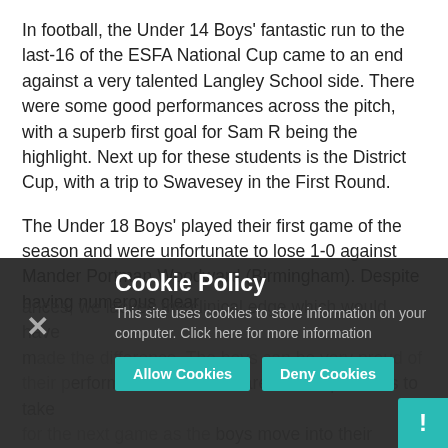In football, the Under 14 Boys' fantastic run to the last-16 of the ESFA National Cup came to an end against a very talented Langley School side. There were some good performances across the pitch, with a superb first goal for Sam R being the highlight. Next up for these students is the District Cup, with a trip to Swavesey in the First Round.
The Under 18 Boys' played their first game of the season and were unfortunate to lose 1-0 against Mander Portman Woodward (Birmingham). Despite having numerous clear chances, we lacked the clinical edge which would have made the difference. The boys can be very proud of their performance and there are a lot of positives to take into the next game as the boys move into their season. A final score that reads: won 7-8-1 (d) ... the rest is cut off
Cookie Policy
This site uses cookies to store information on your computer. Click here for more information